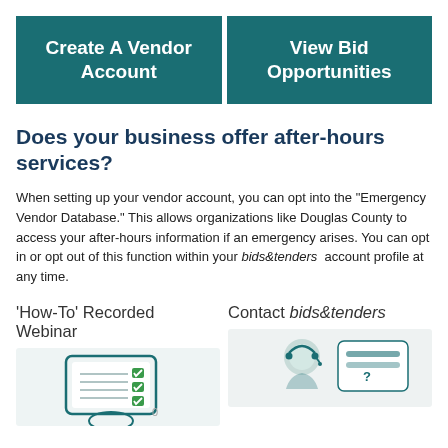[Figure (other): Two teal buttons side by side: 'Create A Vendor Account' and 'View Bid Opportunities']
Does your business offer after-hours services?
When setting up your vendor account, you can opt into the "Emergency Vendor Database." This allows organizations like Douglas County to access your after-hours information if an emergency arises. You can opt in or opt out of this function within your bids&tenders account profile at any time.
'How-To' Recorded Webinar
Contact bids&tenders
[Figure (illustration): Illustration of a hand holding a checklist with green checkmarks]
[Figure (illustration): Illustration of a customer support person with headset and a chat bubble with question mark]